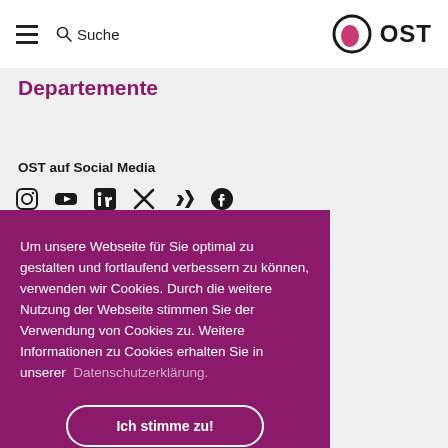≡  🔍 Suche   OST
Departemente
OST auf Social Media
[Figure (illustration): Social media icons: Instagram, YouTube, LinkedIn, Twitter/X, Xing, Facebook]
Um unsere Webseite für Sie optimal zu gestalten und fortlaufend verbessern zu können, verwenden wir Cookies. Durch die weitere Nutzung der Webseite stimmen Sie der Verwendung von Cookies zu. Weitere Informationen zu Cookies erhalten Sie in unserer Datenschutzerklärung.
Ich stimme zu!
8640 Rapperswil